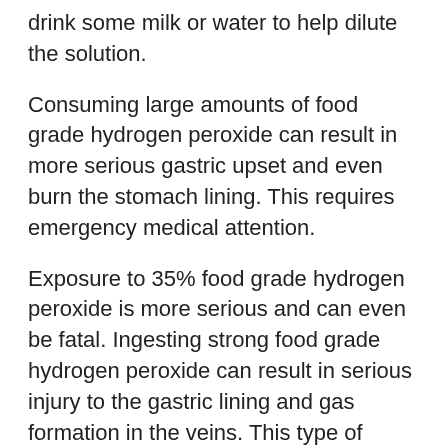drink some milk or water to help dilute the solution.
Consuming large amounts of food grade hydrogen peroxide can result in more serious gastric upset and even burn the stomach lining. This requires emergency medical attention.
Exposure to 35% food grade hydrogen peroxide is more serious and can even be fatal. Ingesting strong food grade hydrogen peroxide can result in serious injury to the gastric lining and gas formation in the veins. This type of exposure can cause a stroke, ulcers, and life-threatening reactions. (18)
Related articles: